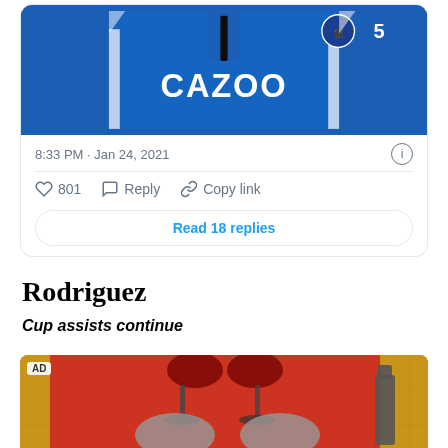[Figure (screenshot): Twitter/X embedded tweet showing an Everton FC footballer wearing a blue Cazoo-sponsored jersey with number 5]
8:33 PM · Jan 24, 2021
801  Reply  Copy link
Read 18 replies
Rodriguez
Cup assists continue
[Figure (photo): Advertisement image with golden tile border and red background showing two hands clinking wine glasses with red wine]